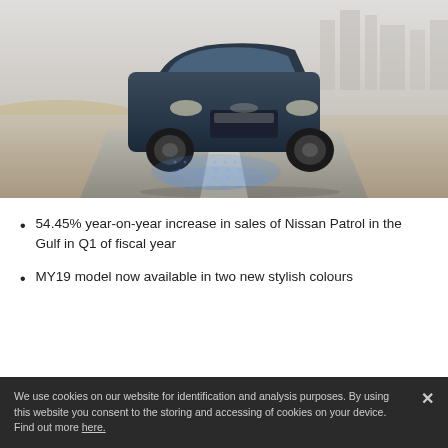[Figure (photo): A dark blue Nissan Patrol SUV driving on a road with a blurred desert and city skyline background. Blue sensor/technology lights are projected on the road under the vehicle.]
54.45% year-on-year increase in sales of Nissan Patrol in the Gulf in Q1 of fiscal year
MY19 model now available in two new stylish colours
We use cookies on our website for identification and analysis purposes. By using this website you consent to the storing and accessing of cookies on your device. Find out more here.